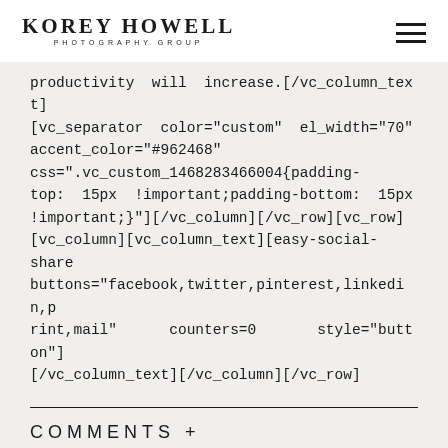KOREY HOWELL PHOTOGRAPHY GROUP
productivity will increase.[/vc_column_text][vc_separator color="custom" el_width="70" accent_color="#962468" css=".vc_custom_1468283466004{padding-top: 15px !important;padding-bottom: 15px !important;}"][/vc_column][/vc_row][vc_row][vc_column][vc_column_text][easy-social-share buttons="facebook,twitter,pinterest,linkedin,print,mail" counters=0 style="button"][/vc_column_text][/vc_column][/vc_row]
COMMENTS +